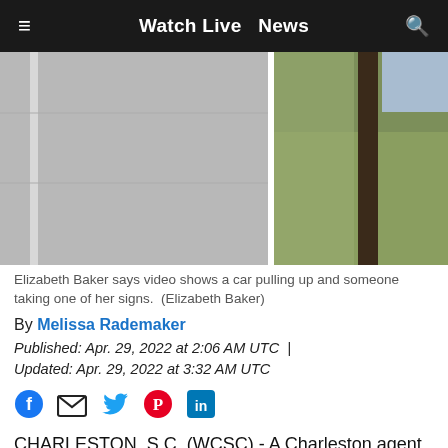≡  Watch Live   News  🔍
[Figure (photo): Split surveillance camera screenshot showing a gray driveway/road on the left and a wooden fence post with grass on the right.]
Elizabeth Baker says video shows a car pulling up and someone taking one of her signs.  (Elizabeth Baker)
By Melissa Rademaker
Published: Apr. 29, 2022 at 2:06 AM UTC  |
Updated: Apr. 29, 2022 at 3:32 AM UTC
[Figure (other): Social media share icons: Facebook, Email, Twitter, Pinterest, LinkedIn]
CHARLESTON, S.C. (WCSC) - A Charleston agent real estate agent says she thinks stealing signs to interfere with business just goes to show how hot the housing market really is.